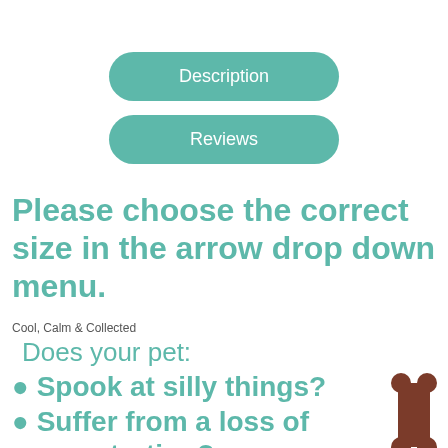[Figure (other): Teal rounded button labeled 'Description']
[Figure (other): Teal rounded button labeled 'Reviews']
Please choose the correct size in the arrow drop down menu.
Cool, Calm & Collected
Does your pet:
Spook at silly things?
Suffer from a loss of concentration?
Get neurotic?
[Figure (illustration): Brown dog bone icon on right side]